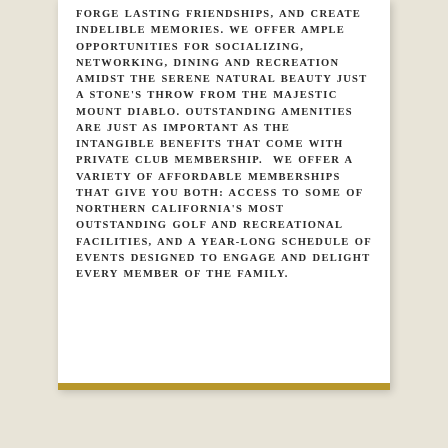FORGE LASTING FRIENDSHIPS, AND CREATE INDELIBLE MEMORIES. WE OFFER AMPLE OPPORTUNITIES FOR SOCIALIZING, NETWORKING, DINING AND RECREATION AMIDST THE SERENE NATURAL BEAUTY JUST A STONE'S THROW FROM THE MAJESTIC MOUNT DIABLO. OUTSTANDING AMENITIES ARE JUST AS IMPORTANT AS THE INTANGIBLE BENEFITS THAT COME WITH PRIVATE CLUB MEMBERSHIP.  WE OFFER A VARIETY OF AFFORDABLE MEMBERSHIPS THAT GIVE YOU BOTH: ACCESS TO SOME OF NORTHERN CALIFORNIA'S MOST OUTSTANDING GOLF AND RECREATIONAL FACILITIES, AND A YEAR-LONG SCHEDULE OF EVENTS DESIGNED TO ENGAGE AND DELIGHT EVERY MEMBER OF THE FAMILY.